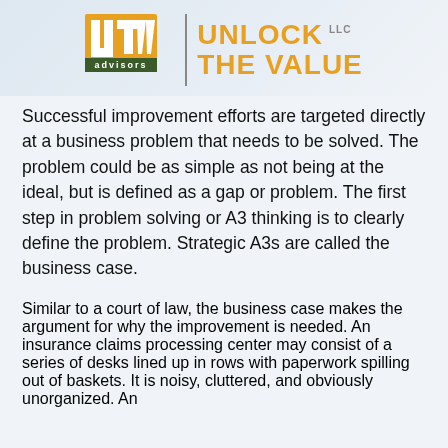[Figure (logo): UTV Advisors / Unlock The Value LLC logo with orange and dark green color scheme]
Successful improvement efforts are targeted directly at a business problem that needs to be solved. The problem could be as simple as not being at the ideal, but is defined as a gap or problem. The first step in problem solving or A3 thinking is to clearly define the problem. Strategic A3s are called the business case.
Similar to a court of law, the business case makes the argument for why the improvement is needed. An insurance claims processing center may consist of a series of desks lined up in rows with paperwork spilling out of baskets. It is noisy, cluttered, and obviously unorganized. An